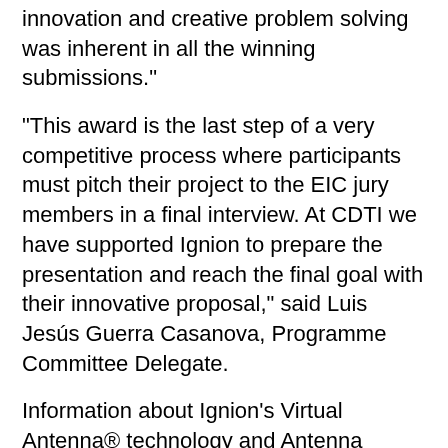innovation and creative problem solving was inherent in all the winning submissions."
"This award is the last step of a very competitive process where participants must pitch their project to the EIC jury members in a final interview. At CDTI we have supported Ignion to prepare the presentation and reach the final goal with their innovative proposal," said Luis Jesús Guerra Casanova, Programme Committee Delegate.
Information about Ignion's Virtual Antenna® technology and Antenna Intelligence Cloud™ can be found at www.ignion.io.
About Ignion
At Ignion we are reshaping the world's IoT connectivity. A global antenna innovator with proven manufacturing capabilities to scale and create the new generation of multiband, multipurpose and ready-to-use, chip antennas